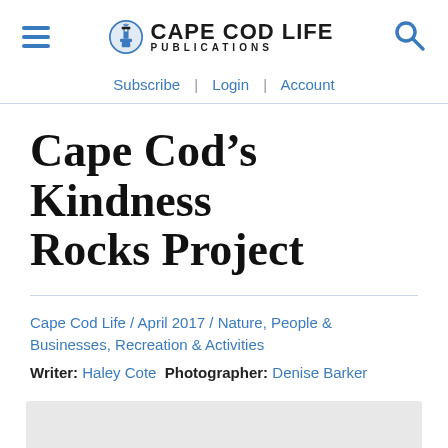Cape Cod Life Publications — Subscribe | Login | Account
Cape Cod’s Kindness Rocks Project
Cape Cod Life / April 2017 / Nature, People & Businesses, Recreation & Activities
Writer: Haley Cote  Photographer: Denise Barker
[Figure (photo): Light gray photo placeholder box at the bottom of the page]